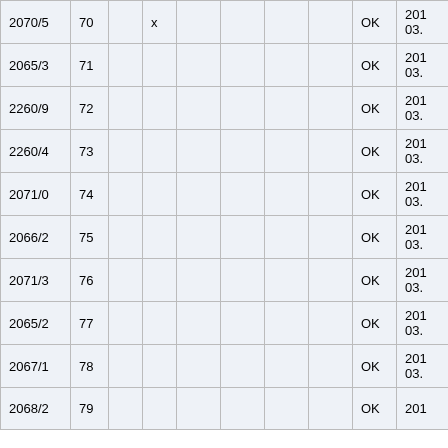| Col1 | Col2 | Col3 | Col4 | Col5 | Col6 | Col7 | Col8 | Col9 | Col10 |
| --- | --- | --- | --- | --- | --- | --- | --- | --- | --- |
| 2070/5 | 70 |  | x |  |  |  |  | OK | 201
03. |
| 2065/3 | 71 |  |  |  |  |  |  | OK | 201
03. |
| 2260/9 | 72 |  |  |  |  |  |  | OK | 201
03. |
| 2260/4 | 73 |  |  |  |  |  |  | OK | 201
03. |
| 2071/0 | 74 |  |  |  |  |  |  | OK | 201
03. |
| 2066/2 | 75 |  |  |  |  |  |  | OK | 201
03. |
| 2071/3 | 76 |  |  |  |  |  |  | OK | 201
03. |
| 2065/2 | 77 |  |  |  |  |  |  | OK | 201
03. |
| 2067/1 | 78 |  |  |  |  |  |  | OK | 201
03. |
| 2068/2 | 79 |  |  |  |  |  |  | OK | 201 |